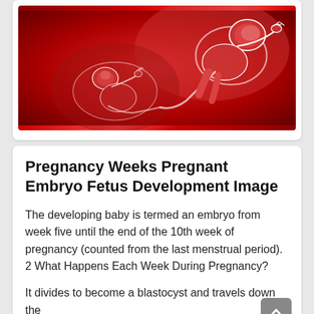[Figure (illustration): Medical illustration of a developing embryo/fetus in the womb, shown in red and pink tones with glowing white outlines against a dark red background]
Pregnancy Weeks Pregnant Embryo Fetus Development Image
The developing baby is termed an embryo from week five until the end of the 10th week of pregnancy (counted from the last menstrual period). 2 What Happens Each Week During Pregnancy?
It divides to become a blastocyst and travels down the